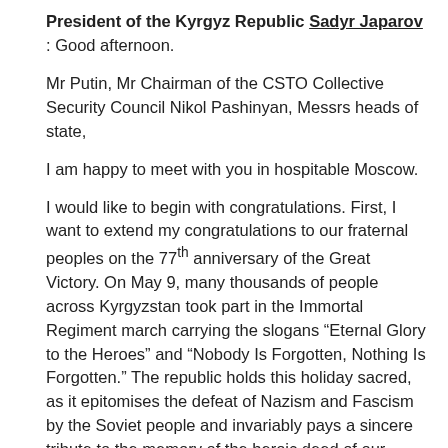President of the Kyrgyz Republic Sadyr Japarov: Good afternoon.
Mr Putin, Mr Chairman of the CSTO Collective Security Council Nikol Pashinyan, Messrs heads of state,
I am happy to meet with you in hospitable Moscow.
I would like to begin with congratulations. First, I want to extend my congratulations to our fraternal peoples on the 77th anniversary of the Great Victory. On May 9, many thousands of people across Kyrgyzstan took part in the Immortal Regiment march carrying the slogans “Eternal Glory to the Heroes” and “Nobody Is Forgotten, Nothing Is Forgotten.” The republic holds this holiday sacred, as it epitomises the defeat of Nazism and Fascism by the Soviet people and invariably pays a sincere tribute to the memory of the heroic deed of our fathers and grandfathers.
Second, I want to extend my congratulations to all of us on the 30th anniversary of signing the Collective Security Treaty and the 20th anniversary of the Collective Security Treaty Organisation. We fully support the political statement to be adopted during our meeting with the outstanding historic dates.